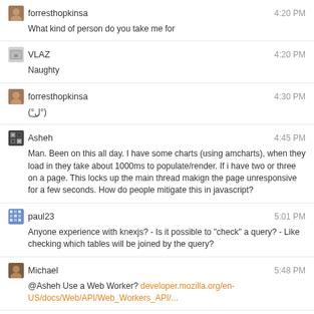forresthopkinsa | 4:20 PM
What kind of person do you take me for
VLAZ | 4:20 PM
Naughty
forresthopkinsa | 4:30 PM
(°ل͜°)
Asheh | 4:45 PM
Man. Been on this all day. I have some charts (using amcharts), when they load in they take about 1000ms to populate/render. If i have two or three on a page. This locks up the main thread makign the page unresponsive for a few seconds. How do people mitigate this in javascript?
paul23 | 5:01 PM
Anyone experience with knexjs? - Is it possible to "check" a query? - Like checking which tables will be joined by the query?
Michael | 5:48 PM
@Asheh Use a Web Worker? developer.mozilla.org/en-US/docs/Web/API/Web_Workers_API/...
paul23 | 6:09 PM
Argh why does every, every answer on stackoverflow I seem to find with google give me a wrong answer.

literary an incorrect answer.